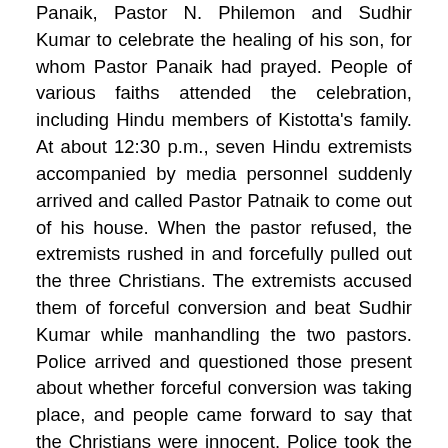Panaik, Pastor N. Philemon and Sudhir Kumar to celebrate the healing of his son, for whom Pastor Panaik had prayed. People of various faiths attended the celebration, including Hindu members of Kistotta's family. At about 12:30 p.m., seven Hindu extremists accompanied by media personnel suddenly arrived and called Pastor Patnaik to come out of his house. When the pastor refused, the extremists rushed in and forcefully pulled out the three Christians. The extremists accused them of forceful conversion and beat Sudhir Kumar while manhandling the two pastors. Police arrived and questioned those present about whether forceful conversion was taking place, and people came forward to say that the Christians were innocent. Police took the three Christians to the police station as a safety measure, however, and arranged for their return home at 10:30 p.m. No police complaint was filed, as the Christians chose to